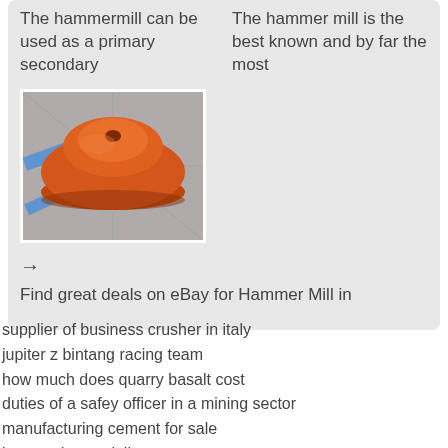The hammermill can be used as a primary secondary
The hammer mill is the best known and by far the most
[Figure (photo): Photo of an orange dome-shaped hammermill part sitting on a grey tiled floor with blue paint markings]
→
Find great deals on eBay for Hammer Mill in
supplier of business crusher in italy
jupiter z bintang racing team
how much does quarry basalt cost
duties of a safey officer in a mining sector
manufacturing cement for sale
jaw crusher praktikum
verical turn mill indonesia